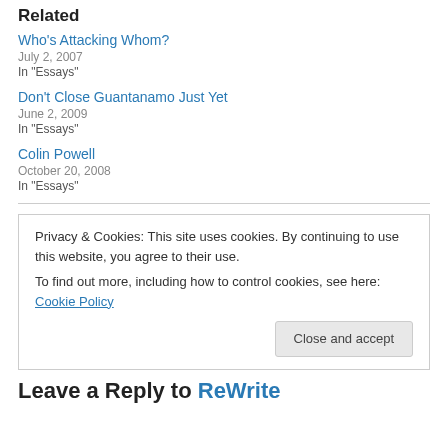Related
Who's Attacking Whom?
July 2, 2007
In "Essays"
Don't Close Guantanamo Just Yet
June 2, 2009
In "Essays"
Colin Powell
October 20, 2008
In "Essays"
Privacy & Cookies: This site uses cookies. By continuing to use this website, you agree to their use.
To find out more, including how to control cookies, see here: Cookie Policy
Leave a Reply to ReWrite